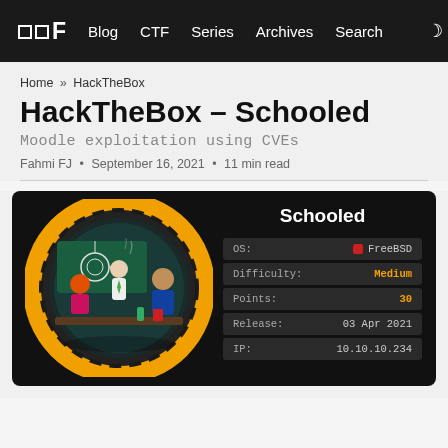⬜⬜F  Blog  CTF  Series  Archives  Search  🌙
Home » HackTheBox
HackTheBox – Schooled
Moodle exploitation using CVEs
Fahmi FJ • September 16, 2021 • 11 min read
[Figure (illustration): HackTheBox Schooled machine card showing a circular illustration of a classroom scene with students and a teacher, alongside machine info: OS: FreeBSD, Difficulty: Medium, Points: 30, Release: 03 Apr 2021, IP: 10.10.10.234]